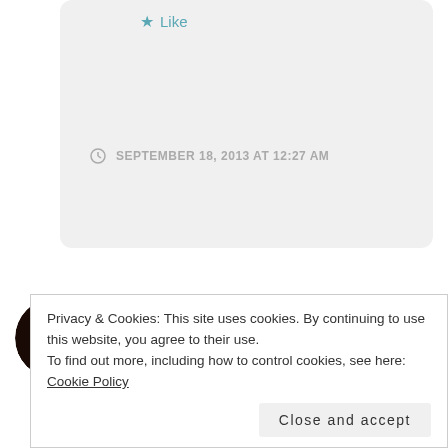Like
SEPTEMBER 18, 2013 AT 12:27 AM
[Figure (photo): Circular avatar photo of a person with dark hair]
Jazz
I'm very happy to know that Era, hugs to you.. I
Privacy & Cookies: This site uses cookies. By continuing to use this website, you agree to their use.
To find out more, including how to control cookies, see here: Cookie Policy
Close and accept